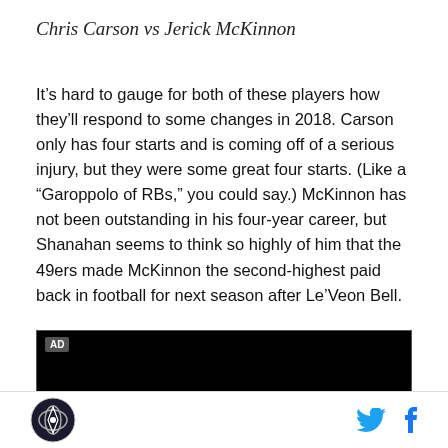Chris Carson vs Jerick McKinnon
It’s hard to gauge for both of these players how they’ll respond to some changes in 2018. Carson only has four starts and is coming off of a serious injury, but they were some great four starts. (Like a “Garoppolo of RBs,” you could say.) McKinnon has not been outstanding in his four-year career, but Shanahan seems to think so highly of him that the 49ers made McKinnon the second-highest paid back in football for next season after Le’Veon Bell.
[Figure (other): Black advertisement banner with 'AD' label in top-left corner]
SB Nation logo, Twitter icon, Facebook icon